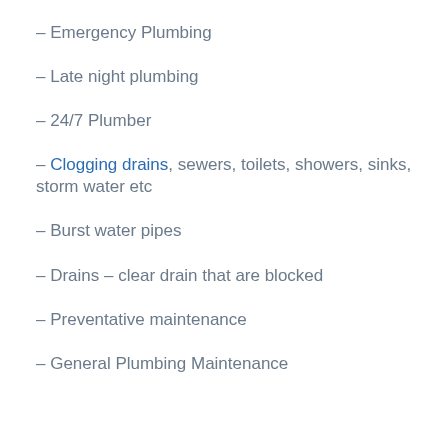– Emergency Plumbing
– Late night plumbing
– 24/7 Plumber
– Clogging drains, sewers, toilets, showers, sinks, storm water etc
– Burst water pipes
– Drains – clear drain that are blocked
– Preventative maintenance
– General Plumbing Maintenance